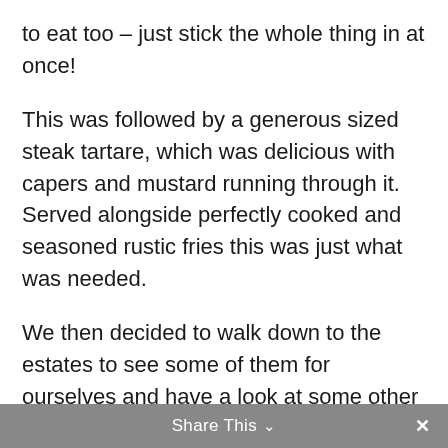to eat too – just stick the whole thing in at once!
This was followed by a generous sized steak tartare, which was delicious with capers and mustard running through it. Served alongside perfectly cooked and seasoned rustic fries this was just what was needed.
We then decided to walk down to the estates to see some of them for ourselves and have a look at some other parts of the city.
Share This ∨  ×